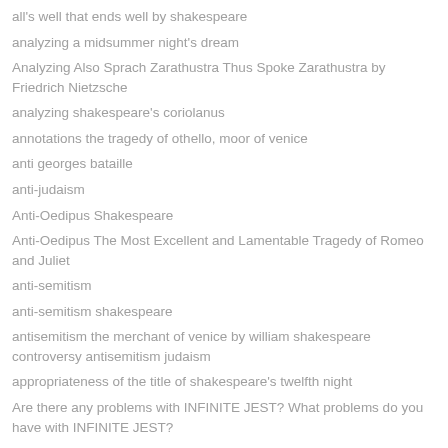all's well that ends well by shakespeare
analyzing a midsummer night's dream
Analyzing Also Sprach Zarathustra Thus Spoke Zarathustra by Friedrich Nietzsche
analyzing shakespeare's coriolanus
annotations the tragedy of othello, moor of venice
anti georges bataille
anti-judaism
Anti-Oedipus Shakespeare
Anti-Oedipus The Most Excellent and Lamentable Tragedy of Romeo and Juliet
anti-semitism
anti-semitism shakespeare
antisemitism the merchant of venice by william shakespeare controversy antisemitism judaism
appropriateness of the title of shakespeare's twelfth night
Are there any problems with INFINITE JEST? What problems do you have with INFINITE JEST?